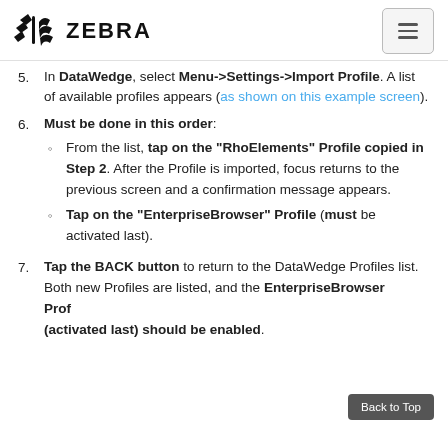ZEBRA
5. In DataWedge, select Menu->Settings->Import Profile. A list of available profiles appears (as shown on this example screen).
6. Must be done in this order: From the list, tap on the "RhoElements" Profile copied in Step 2. After the Profile is imported, focus returns to the previous screen and a confirmation message appears. Tap on the "EnterpriseBrowser" Profile (must be activated last).
7. Tap the BACK button to return to the DataWedge Profiles list. Both new Profiles are listed, and the EnterpriseBrowser Profile (activated last) should be enabled.